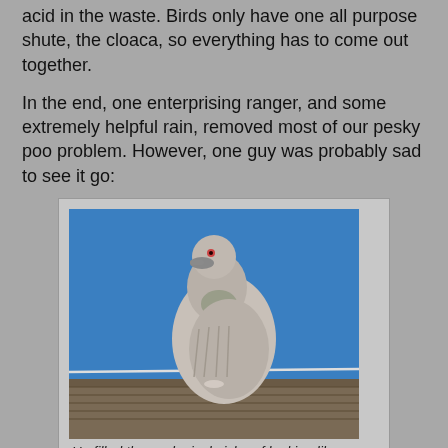acid in the waste. Birds only have one all purpose shute, the cloaca, so everything has to come out together.
In the end, one enterprising ranger, and some extremely helpful rain, removed most of our pesky poo problem. However, one guy was probably sad to see it go:
[Figure (photo): A pigeon sitting on a wire/ledge against a blue sky, viewed from below at close range. The pigeon appears light grey/white.]
He filled the ecological niche of looking like poop.
Although you know what? All this talk of feces really has me